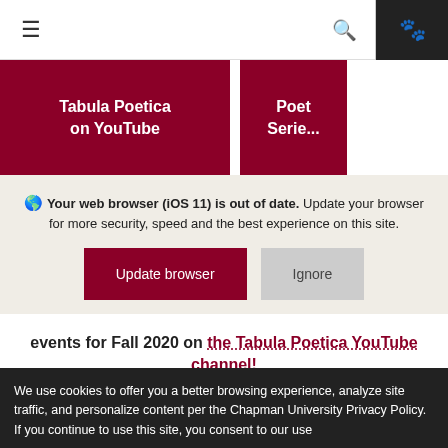≡  🔍  🐾
[Figure (screenshot): Dark red button: Tabula Poetica on YouTube]
[Figure (screenshot): Partial dark red button: Poet Serie...]
🌐 Your web browser (iOS 11) is out of date. Update your browser for more security, speed and the best experience on this site.
Update browser | Ignore
events for Fall 2020 on the Tabula Poetica YouTube channel!
We use cookies to offer you a better browsing experience, analyze site traffic, and personalize content per the Chapman University Privacy Policy. If you continue to use this site, you consent to our use